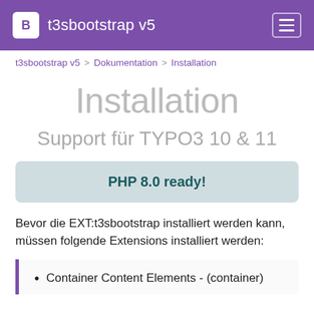t3sbootstrap v5
t3sbootstrap v5 > Dokumentation > Installation
Installation
Support für TYPO3 10 & 11
PHP 8.0 ready!
Bevor die EXT:t3sbootstrap installiert werden kann, müssen folgende Extensions installiert werden:
Container Content Elements - (container)